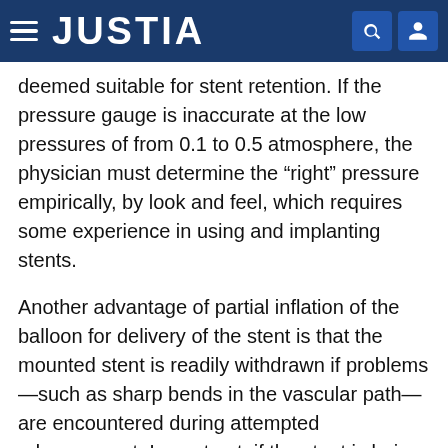JUSTIA
deemed suitable for stent retention. If the pressure gauge is inaccurate at the low pressures of from 0.1 to 0.5 atmosphere, the physician must determine the “right” pressure empirically, by look and feel, which requires some experience in using and implanting stents.
Another advantage of partial inflation of the balloon for delivery of the stent is that the mounted stent is readily withdrawn if problems—such as sharp bends in the vascular path—are encountered during attempted advancement. In contrast, if the stent is being retracted while crimped on an uninflated balloon, extreme care is required to assure that the stent will not be dislodged while moving through the coronary artery or any other curved portion of the path through the vascular system, or when retracting the balloon and the stent into the